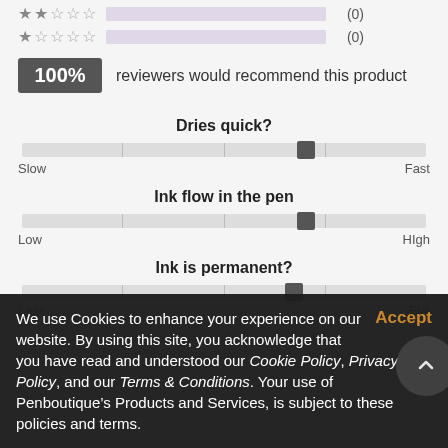[Figure (infographic): 2-star rating row with empty bar and count (0)]
[Figure (infographic): 1-star rating row with empty bar and count (0)]
100% reviewers would recommend this product
Dries quick?
[Figure (infographic): Slider for Dries quick? positioned towards Fast end. Labels: Slow, Fast.]
Ink flow in the pen
[Figure (infographic): Slider for Ink flow in the pen positioned towards High end. Labels: Low, High.]
Ink is permanent?
[Figure (infographic): Slider for Ink is permanent? positioned towards Full end. Labels: Less, Full.]
Safe to use in fountain pen?
We use Cookies to enhance your experience on our website. By using this site, you acknowledge that you have read and understood our Cookie Policy, Privacy Policy, and our Terms & Conditions. Your use of Penboutique’s Products and Services, is subject to these policies and terms.
Accept